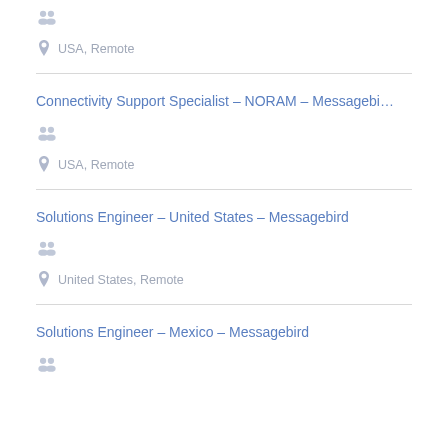[Figure (infographic): People/group icon in light blue-gray]
USA, Remote
Connectivity Support Specialist - NORAM - Messagebi...
[Figure (infographic): People/group icon in light blue-gray]
USA, Remote
Solutions Engineer - United States - Messagebird
[Figure (infographic): People/group icon in light blue-gray]
United States, Remote
Solutions Engineer - Mexico - Messagebird
[Figure (infographic): People/group icon in light blue-gray]